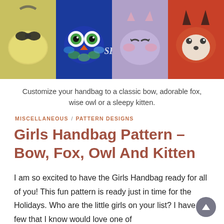[Figure (photo): Four crocheted girls handbags side by side: yellow bag with black bow, dark blue owl bag with colorful feathers and large eyes, purple/lavender kitten bag with pink accents and sleepy eyes, and rust/orange fox bag with white and black facial features. Watermark 'SB3' in center.]
Customize your handbag to a classic bow, adorable fox, wise owl or a sleepy kitten.
MISCELLANEOUS / PATTERN DESIGNS
Girls Handbag Pattern – Bow, Fox, Owl And Kitten
I am so excited to have the Girls Handbag ready for all of you! This fun pattern is ready just in time for the Holidays. Who are the little girls on your list? I have a few that I know would love one of